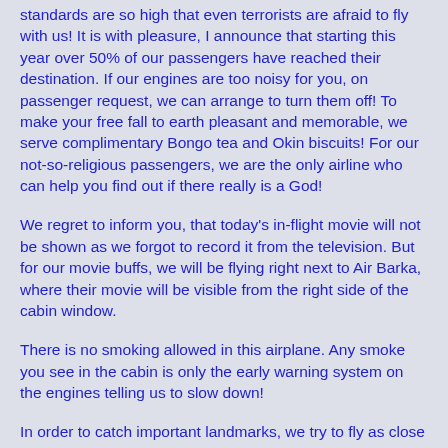standards are so high that even terrorists are afraid to fly with us! It is with pleasure, I announce that starting this year over 50% of our passengers have reached their destination. If our engines are too noisy for you, on passenger request, we can arrange to turn them off! To make your free fall to earth pleasant and memorable, we serve complimentary Bongo tea and Okin biscuits! For our not-so-religious passengers, we are the only airline who can help you find out if there really is a God!
We regret to inform you, that today's in-flight movie will not be shown as we forgot to record it from the television. But for our movie buffs, we will be flying right next to Air Barka, where their movie will be visible from the right side of the cabin window.
There is no smoking allowed in this airplane. Any smoke you see in the cabin is only the early warning system on the engines telling us to slow down!
In order to catch important landmarks, we try to fly as close as possible for the best view. If, however, we go a little too close, do let us know. Our enthusiastic co-pilot sometimes flies right through the landmark!
Kindly be seated, keep your seat in an upright position for take-off and fasten your set-belt. For those of you who can't find a seat-belt, kindly fasten your own belt to the arm of your seat ... and for those of you who can't find a seat, do not hesitate to get in touch with a stewardess who